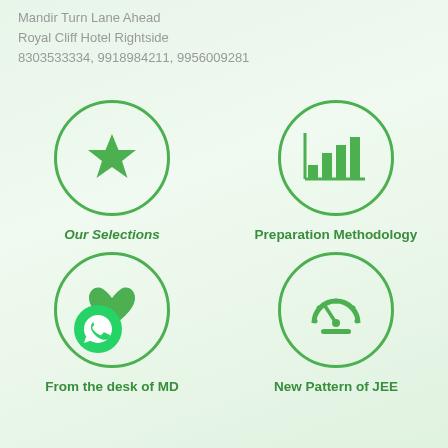Mandir Turn Lane Ahead
Royal Cliff Hotel Rightside
8303533334, 9918984211, 9956009281
[Figure (illustration): Circle with green star icon — Our Selections]
Our Selections
[Figure (illustration): Circle with green bar chart icon — Preparation Methodology]
Preparation Methodology
[Figure (illustration): Circle with green heart icon — From the desk of MD]
From the desk of MD
[Figure (illustration): Circle with green speedometer/dashboard icon — New Pattern of JEE]
New Pattern of JEE